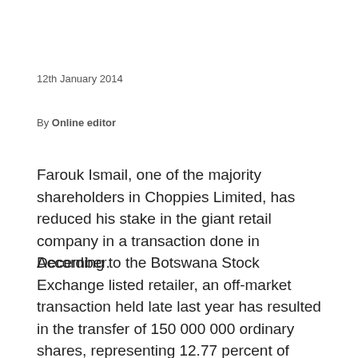12th January 2014
By Online editor
Farouk Ismail, one of the majority shareholders in Choppies Limited, has reduced his stake in the giant retail company in a transaction done in December.
According to the Botswana Stock Exchange listed retailer, an off-market transaction held late last year has resulted in the transfer of 150 000 000 ordinary shares, representing 12.77 percent of issued shares between Ismail and a subsidiary of one of the world's leading